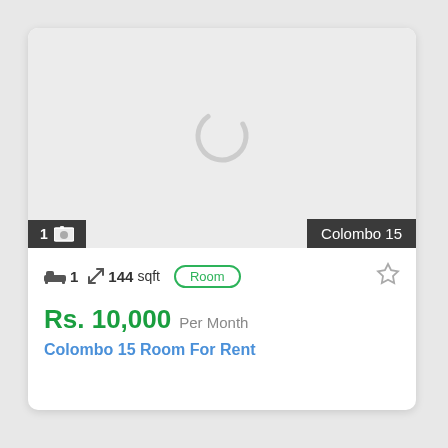[Figure (screenshot): Property listing card showing a loading spinner in the image area, with location badge 'Colombo 15', photo count badge '1', property features: 1 bedroom, 144 sqft, Room type, price Rs. 10,000 Per Month, title Colombo 15 Room For Rent]
1  Colombo 15
1  144 sqft  Room
Rs. 10,000 Per Month
Colombo 15 Room For Rent